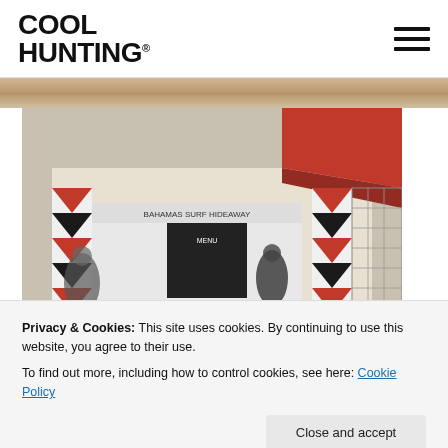COOL HUNTING®
[Figure (photo): Top strip showing edge of a building or awning with beige/tan coloring]
[Figure (photo): Outdoor beach-side food stall/stand decorated with red and black diamond harlequin pattern, people visible, sign reads OPEN, red canopy visible above, chain-link fence on right]
Privacy & Cookies: This site uses cookies. By continuing to use this website, you agree to their use.
To find out more, including how to control cookies, see here: Cookie Policy
Close and accept
Every summer surfers and sun-seekers visit Rockaway